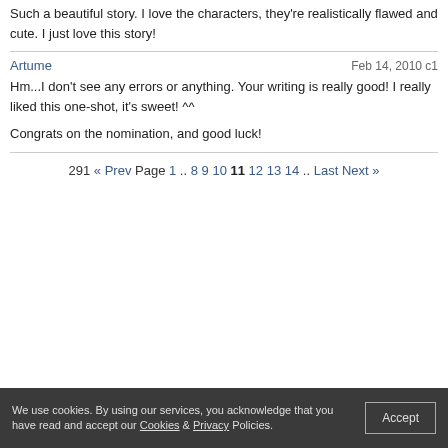Such a beautiful story. I love the characters, they're realistically flawed and cute. I just love this story!
Artume
Feb 14, 2010 c1
Hm...I don't see any errors or anything. Your writing is really good! I really liked this one-shot, it's sweet! ^^

Congrats on the nomination, and good luck!
291 « Prev Page 1 .. 8 9 10 11 12 13 14 .. Last Next »
We use cookies. By using our services, you acknowledge that you have read and accept our Cookies & Privacy Policies.